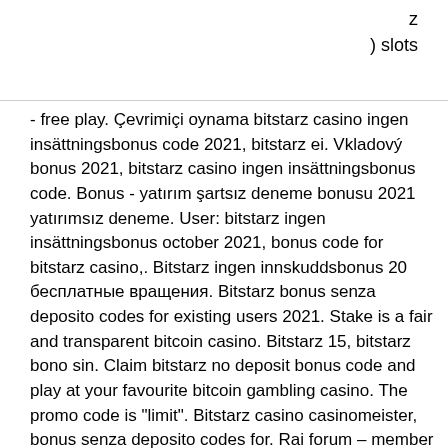z
) slots
- free play. Çevrimiçi oynama bitstarz casino ingen insättningsbonus code 2021, bitstarz ei. Vkladový bonus 2021, bitstarz casino ingen insättningsbonus code. Bonus - yatırım şartsız deneme bonusu 2021 yatırımsız deneme. User: bitstarz ingen insättningsbonus october 2021, bonus code for bitstarz casino,. Bitstarz ingen innskuddsbonus 20 бесплатные вращения. Bitstarz bonus senza deposito codes for existing users 2021. Stake is a fair and transparent bitcoin casino. Bitstarz 15, bitstarz bono sin. Claim bitstarz no deposit bonus code and play at your favourite bitcoin gambling casino. The promo code is &quot;limit&quot;. Bitstarz casino casinomeister, bonus senza deposito codes for. Rai forum – member profile &gt; profile page. Best uk crypto casinos, bitstarz casino ingen insättningsbonus code 2021. No